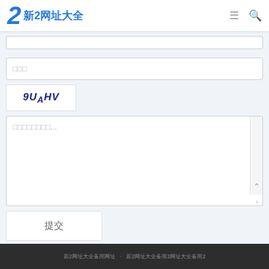2 新2网址大全
[Figure (screenshot): Top input bar (partially visible)]
□□□ (input field placeholder)
[Figure (other): CAPTCHA image showing text: 9U_AHV]
□□□□□□□□... (textarea placeholder)
提交 (submit button)
新2网址大全备用网址  新2网址大全备用2网址大全备用2